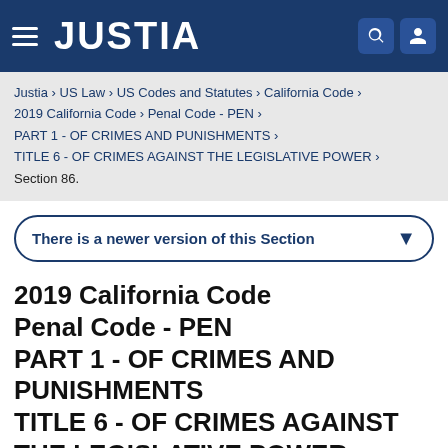JUSTIA
Justia › US Law › US Codes and Statutes › California Code › 2019 California Code › Penal Code - PEN › PART 1 - OF CRIMES AND PUNISHMENTS › TITLE 6 - OF CRIMES AGAINST THE LEGISLATIVE POWER › Section 86.
There is a newer version of this Section
2019 California Code Penal Code - PEN PART 1 - OF CRIMES AND PUNISHMENTS TITLE 6 - OF CRIMES AGAINST THE LEGISLATIVE POWER Section 86.